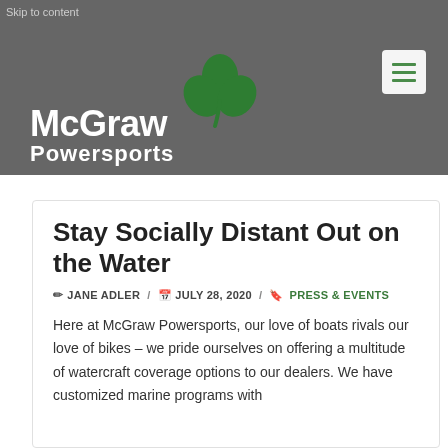Skip to content
[Figure (logo): McGraw Powersports logo with green shamrock and white text]
Stay Socially Distant Out on the Water
JANE ADLER / JULY 28, 2020 / PRESS & EVENTS
Here at McGraw Powersports, our love of boats rivals our love of bikes – we pride ourselves on offering a multitude of watercraft coverage options to our dealers. We have customized marine programs with